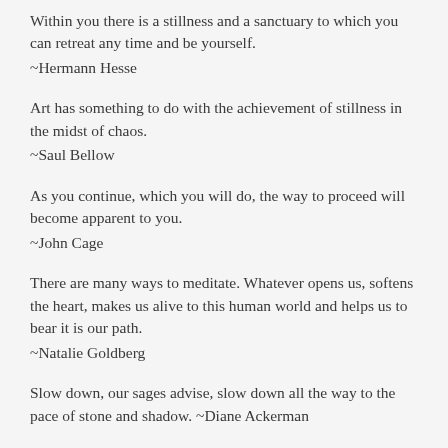Within you there is a stillness and a sanctuary to which you can retreat any time and be yourself. ~Hermann Hesse
Art has something to do with the achievement of stillness in the midst of chaos. ~Saul Bellow
As you continue, which you will do, the way to proceed will become apparent to you. ~John Cage
There are many ways to meditate. Whatever opens us, softens the heart, makes us alive to this human world and helps us to bear it is our path. ~Natalie Goldberg
Slow down, our sages advise, slow down all the way to the pace of stone and shadow. ~Diane Ackerman